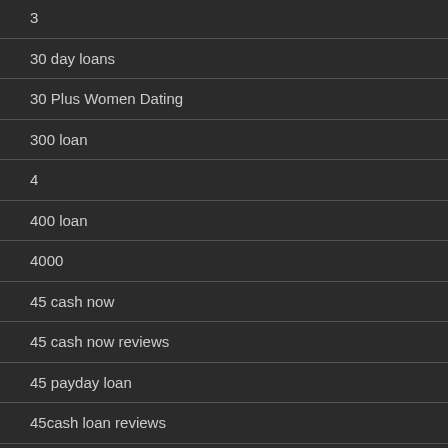3
30 day loans
30 Plus Women Dating
300 loan
4
400 loan
4000
45 cash now
45 cash now reviews
45 payday loan
45cash loan reviews